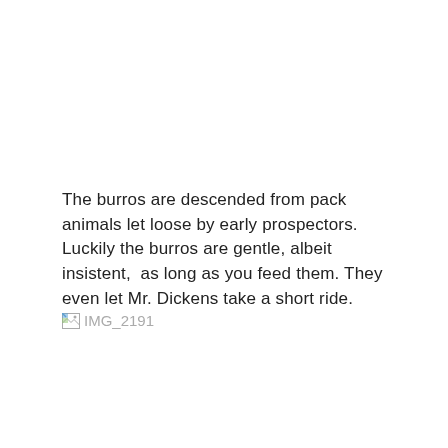The burros are descended from pack animals let loose by early prospectors. Luckily the burros are gentle, albeit insistent,  as long as you feed them. They even let Mr. Dickens take a short ride.
[Figure (photo): Broken image placeholder with label IMG_2191]